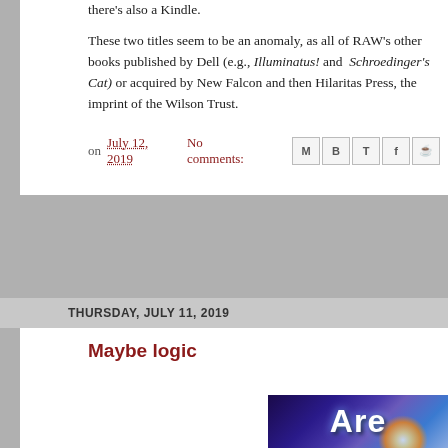there's also a Kindle.

These two titles seem to be an anomaly, as all of RAW's other books published by Dell (e.g., Illuminatus! and Schroedinger's Cat) or acquired by New Falcon and then Hilaritas Press, the imprint of the Wilson Trust.
on July 12, 2019   No comments:
THURSDAY, JULY 11, 2019
Maybe logic
[Figure (photo): Image with bold white text 'Are you' on a dark blue/purple cosmic background with light burst]